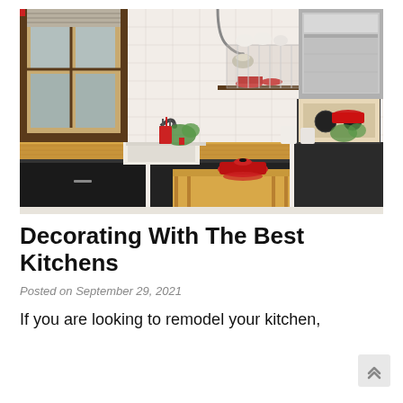[Figure (photo): Interior photo of a well-decorated kitchen with black cabinets, butcher block countertops, white subway tile backsplash, a farmhouse sink, a gooseneck pendant light, open shelving with red cookware, a stainless steel range hood, and a small wooden island with a red dutch oven on top.]
Decorating With The Best Kitchens
Posted on September 29, 2021
If you are looking to remodel your kitchen,